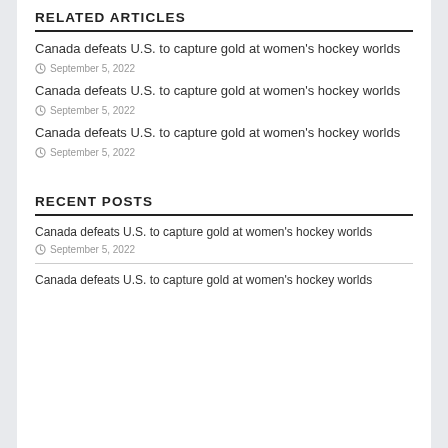RELATED ARTICLES
Canada defeats U.S. to capture gold at women's hockey worlds
September 5, 2022
Canada defeats U.S. to capture gold at women's hockey worlds
September 5, 2022
Canada defeats U.S. to capture gold at women's hockey worlds
September 5, 2022
RECENT POSTS
Canada defeats U.S. to capture gold at women's hockey worlds
September 5, 2022
Canada defeats U.S. to capture gold at women's hockey worlds